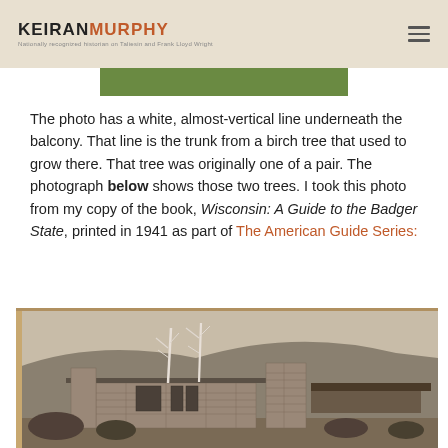KEIRAN MURPHY — Nationally recognized historian on Taliesin and Frank Lloyd Wright
[Figure (photo): Top portion of an outdoor photograph showing green lawn/grass, partially cropped at top of page]
The photo has a white, almost-vertical line underneath the balcony. That line is the trunk from a birch tree that used to grow there. That tree was originally one of a pair. The photograph below shows those two trees. I took this photo from my copy of the book, Wisconsin: A Guide to the Badger State, printed in 1941 as part of The American Guide Series:
[Figure (photo): Black and white photograph from Wisconsin: A Guide to the Badger State (1941) showing a Frank Lloyd Wright building (Taliesin) with stone construction, low horizontal roof lines, and two bare birch trees in front, with a hillside in the background]